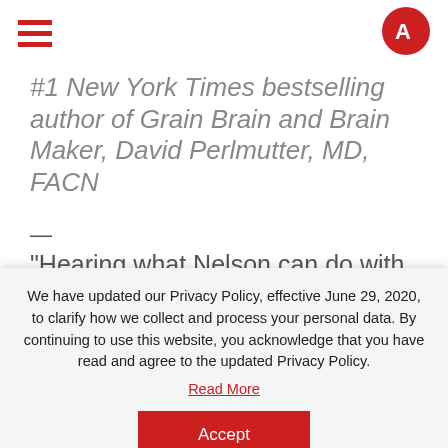Navigation bar with hamburger menu and logo
#1 New York Times bestselling author of Grain Brain and Brain Maker, David Perlmutter, MD, FACN
—
“Hearing what Nelson can do with his memory impressed me. But watching him recall and then teach
We have updated our Privacy Policy, effective June 29, 2020, to clarify how we collect and process your personal data. By continuing to use this website, you acknowledge that you have read and agree to the updated Privacy Policy. Read More
Accept